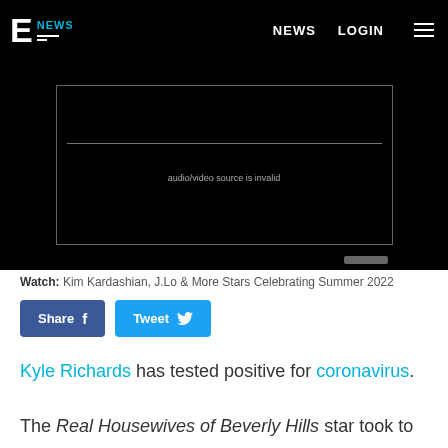E! NEWS  NEWS  LOGIN
[Figure (screenshot): Embedded video player showing error message 'audio/video source is invalid' on black background with a thin horizontal line above the error text and a progress bar control below the video box.]
Watch: Kim Kardashian, J.Lo & More Stars Celebrating Summer 2022
Share  Tweet
Kyle Richards has tested positive for coronavirus.
The Real Housewives of Beverly Hills star took to